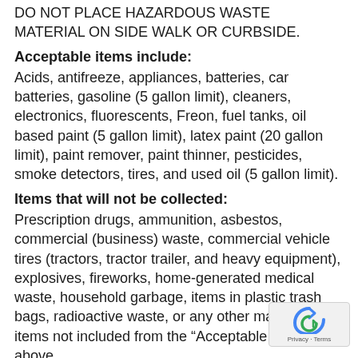DO NOT PLACE HAZARDOUS WASTE MATERIALS ON SIDE WALK OR CURBSIDE.
Acceptable items include:
Acids, antifreeze, appliances, batteries, car batteries, gasoline (5 gallon limit), cleaners, electronics, fluorescents, Freon, fuel tanks, oil based paint (5 gallon limit), latex paint (20 gallon limit), paint remover, paint thinner, pesticides, smoke detectors, tires, and used oil (5 gallon limit).
Items that will not be collected:
Prescription drugs, ammunition, asbestos, commercial (business) waste, commercial vehicle tires (tractors, tractor trailer, and heavy equipment), explosives, fireworks, home-generated medical waste, household garbage, items in plastic trash bags, radioactive waste, or any other material or items not included from the "Acceptable item" list above.
Citizens with questions can call 928-777-1116, or go www.prescott-az.gov.